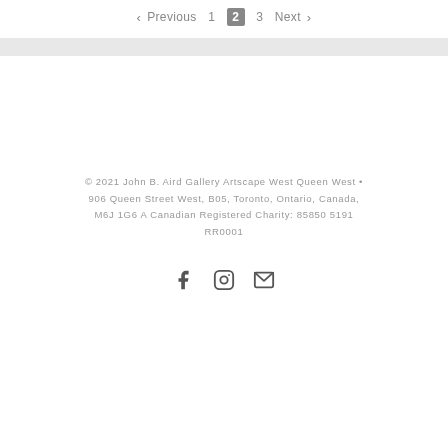< Previous  1  2  3  Next >
© 2021 John B. Aird Gallery Artscape West Queen West • 906 Queen Street West, B05, Toronto, Ontario, Canada, M6J 1G6 A Canadian Registered Charity: 85850 5191 RR0001
[Figure (other): Social media icons: Facebook, Instagram, Email]